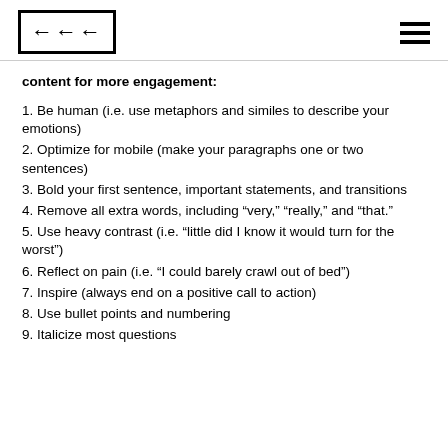<<< [logo] [hamburger menu]
content for more engagement:
1. Be human (i.e. use metaphors and similes to describe your emotions)
2. Optimize for mobile (make your paragraphs one or two sentences)
3. Bold your first sentence, important statements, and transitions
4. Remove all extra words, including “very,” “really,” and “that.”
5. Use heavy contrast (i.e. “little did I know it would turn for the worst”)
6. Reflect on pain (i.e. “I could barely crawl out of bed”)
7. Inspire (always end on a positive call to action)
8. Use bullet points and numbering
9. Italicize most questions